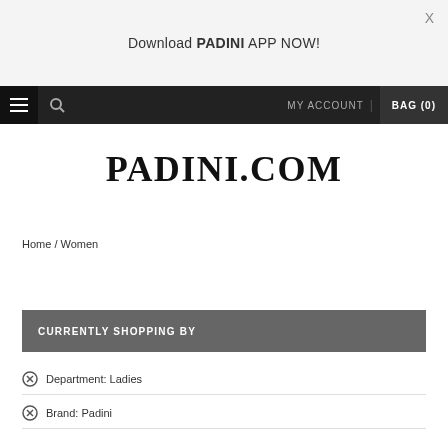Download PADINI APP NOW!
MY ACCOUNT | BAG (0)
PADINI.COM
Home / Women
CURRENTLY SHOPPING BY
Department: Ladies
Brand: Padini